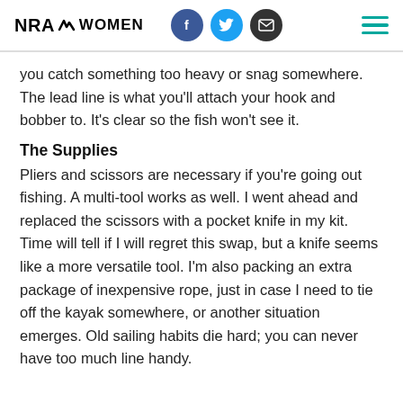NRA WOMEN
you catch something too heavy or snag somewhere. The lead line is what you’ll attach your hook and bobber to. It’s clear so the fish won’t see it.
The Supplies
Pliers and scissors are necessary if you’re going out fishing. A multi-tool works as well. I went ahead and replaced the scissors with a pocket knife in my kit. Time will tell if I will regret this swap, but a knife seems like a more versatile tool. I’m also packing an extra package of inexpensive rope, just in case I need to tie off the kayak somewhere, or another situation emerges. Old sailing habits die hard; you can never have too much line handy.